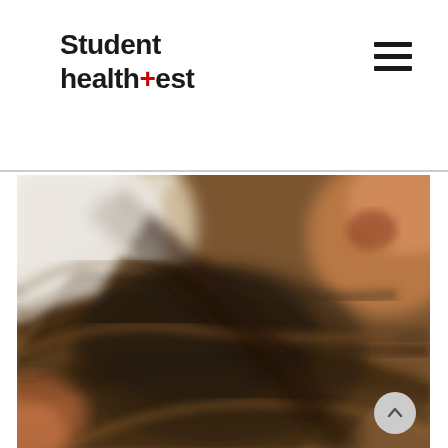Student health+est
[Figure (photo): Close-up blurred photo of what appears to be hair or fur texture in brown and dark tones, with a white fabric or paper visible in the upper left corner and a hint of orange/skin color in the lower left and upper right.]